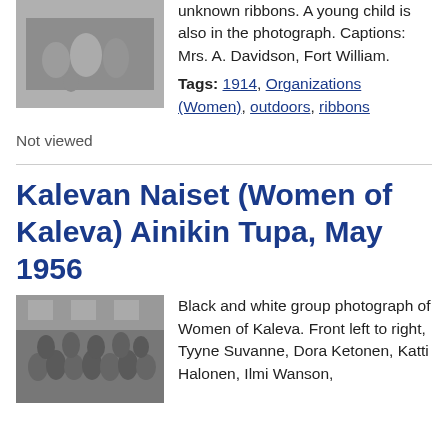[Figure (photo): Black and white photograph of a group of women outdoors, with unknown ribbons. A young child is also in the photograph. Captions: Mrs. A. Davidson, Fort William.]
unknown ribbons. A young child is also in the photograph. Captions: Mrs. A. Davidson, Fort William.
Tags: 1914, Organizations (Women), outdoors, ribbons
Not viewed
Kalevan Naiset (Women of Kaleva) Ainikin Tupa, May 1956
[Figure (photo): Black and white group photograph of Women of Kaleva. Front left to right, Tyyne Suvanne, Dora Ketonen, Katti Halonen, Ilmi Wanson,]
Black and white group photograph of Women of Kaleva. Front left to right, Tyyne Suvanne, Dora Ketonen, Katti Halonen, Ilmi Wanson,